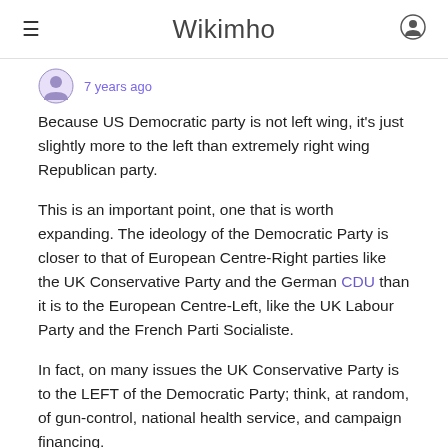Wikimho
7 years ago
Because US Democratic party is not left wing, it's just slightly more to the left than extremely right wing Republican party.
This is an important point, one that is worth expanding. The ideology of the Democratic Party is closer to that of European Centre-Right parties like the UK Conservative Party and the German CDU than it is to the European Centre-Left, like the UK Labour Party and the French Parti Socialiste.
In fact, on many issues the UK Conservative Party is to the LEFT of the Democratic Party; think, at random, of gun-control, national health service, and campaign financing.
Others have raised a related hypothetical: with whom would the US parties caucus if they were in the European Parliament? If the Democratic Party linked with the